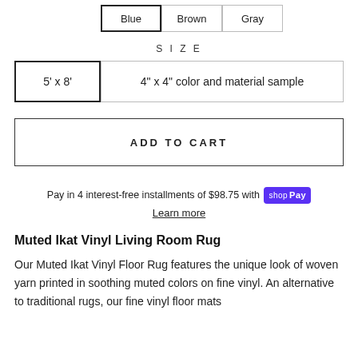| Blue | Brown | Gray |
| --- | --- | --- |
SIZE
| 5' x 8' | 4" x 4" color and material sample |
| --- | --- |
ADD TO CART
Pay in 4 interest-free installments of $98.75 with shop Pay
Learn more
Muted Ikat Vinyl Living Room Rug
Our Muted Ikat Vinyl Floor Rug features the unique look of woven yarn printed in soothing muted colors on fine vinyl. An alternative to traditional rugs, our fine vinyl floor mats